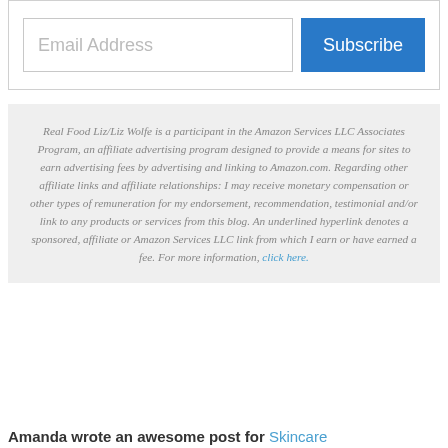[Figure (screenshot): Email subscription box with an email address input field and a blue Subscribe button]
Real Food Liz/Liz Wolfe is a participant in the Amazon Services LLC Associates Program, an affiliate advertising program designed to provide a means for sites to earn advertising fees by advertising and linking to Amazon.com. Regarding other affiliate links and affiliate relationships: I may receive monetary compensation or other types of remuneration for my endorsement, recommendation, testimonial and/or link to any products or services from this blog. An underlined hyperlink denotes a sponsored, affiliate or Amazon Services LLC link from which I earn or have earned a fee. For more information, click here.
Amanda wrote an awesome post for Skincare